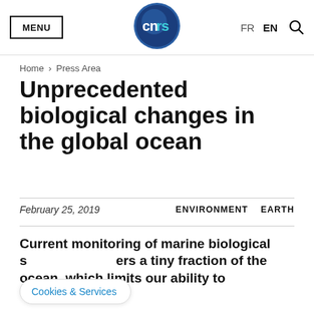MENU | cnrs | FR EN
Home > Press Area
Unprecedented biological changes in the global ocean
February 25, 2019    ENVIRONMENT    EARTH
Current monitoring of marine biological s[...]ers a tiny fraction of the ocean, which limits our ability to